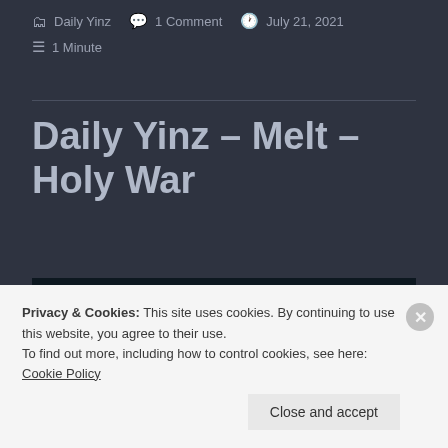Daily Yinz   1 Comment   July 21, 2021   1 Minute
Daily Yinz – Melt – Holy War
[Figure (photo): Dark background image with teal/green hand or figure silhouette visible at center top]
Privacy & Cookies: This site uses cookies. By continuing to use this website, you agree to their use.
To find out more, including how to control cookies, see here: Cookie Policy
Close and accept